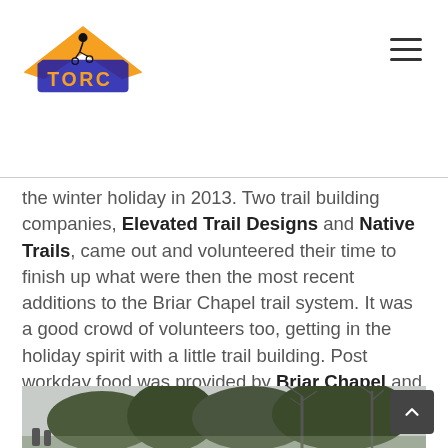TORC logo and navigation header
the winter holiday in 2013. Two trail building companies, Elevated Trail Designs and Native Trails, came out and volunteered their time to finish up what were then the most recent additions to the Briar Chapel trail system. It was a good crowd of volunteers too, getting in the holiday spirit with a little trail building. Post workday food was provided by Briar Chapel and everybody enjoyed awesome brews from Crank Arm Brewing.
[Figure (photo): Outdoor landscape photo showing trees and sky at the bottom of the page]